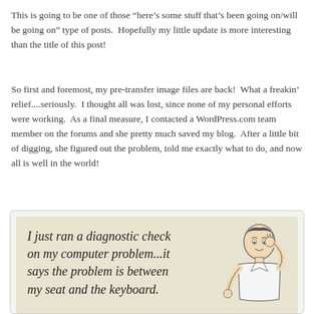This is going to be one of those “here’s some stuff that’s been going on/will be going on” type of posts.  Hopefully my little update is more interesting than the title of this post!
So first and foremost, my pre-transfer image files are back!  What a freakin’ relief....seriously.  I thought all was lost, since none of my personal efforts were working.  As a final measure, I contacted a WordPress.com team member on the forums and she pretty much saved my blog.  After a little bit of digging, she figured out the problem, told me exactly what to do, and now all is well in the world!
[Figure (illustration): A vintage-style e-card illustration showing a person scratching their head with the text: 'I just ran a diagnostic check on my computer problem...it says the problem is between my seat and the keyboard.']